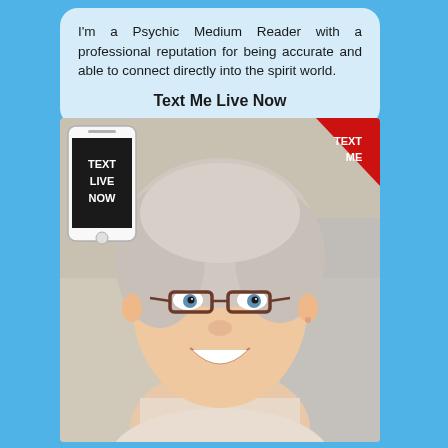I'm a Psychic Medium Reader with a professional reputation for being accurate and able to connect directly into the spirit world.
Text Me Live Now
[Figure (photo): Photo of a smiling older woman with short grey hair and dark-rimmed glasses, wearing a light blouse. Overlaid with a smartphone graphic on the left showing 'TEXT LIVE NOW' and a red triangle badge in the top-right corner showing 'TEXT ME'.]